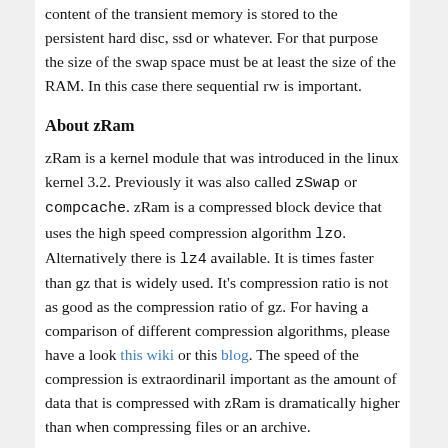content of the transient memory is stored to the persistent hard disc, ssd or whatever. For that purpose the size of the swap space must be at least the size of the RAM. In this case there sequential rw is important.
About zRam
zRam is a kernel module that was introduced in the linux kernel 3.2. Previously it was also called zSwap or compcache. zRam is a compressed block device that uses the high speed compression algorithm lzo. Alternatively there is lz4 available. It is times faster than gz that is widely used. It's compression ratio is not as good as the compression ratio of gz. For having a comparison of different compression algorithms, please have a look this wiki or this blog. The speed of the compression is extraordinaril important as the amount of data that is compressed with zRam is dramatically higher than when compressing files or an archive.
DISADVANTAGES
As zRam de/compresses the memory, some cpu time is